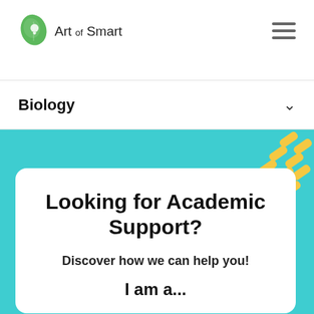[Figure (logo): Art of Smart logo — green leaf with lightbulb icon, text reading Art of Smart]
Biology ∨
Looking for Academic Support?
Discover how we can help you!
I am a...